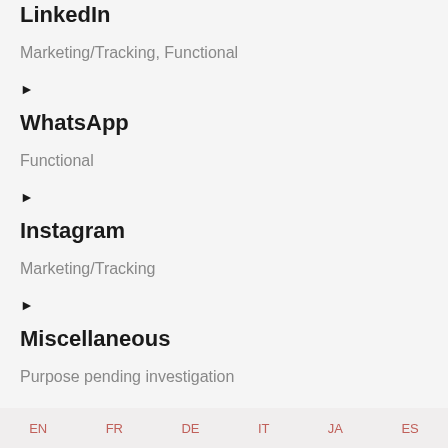LinkedIn
Marketing/Tracking, Functional
▶
WhatsApp
Functional
▶
Instagram
Marketing/Tracking
▶
Miscellaneous
Purpose pending investigation
EN  FR  DE  IT  JA  ES